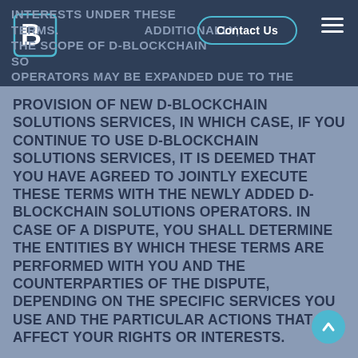INTERESTS UNDER THESE TERMS. ADDITIONALLY, THE SCOPE OF D-BLOCKCHAIN SOLUTIONS OPERATORS MAY BE EXPANDED DUE TO THE
PROVISION OF NEW D-BLOCKCHAIN SOLUTIONS SERVICES, IN WHICH CASE, IF YOU CONTINUE TO USE D-BLOCKCHAIN SOLUTIONS SERVICES, IT IS DEEMED THAT YOU HAVE AGREED TO JOINTLY EXECUTE THESE TERMS WITH THE NEWLY ADDED D-BLOCKCHAIN SOLUTIONS OPERATORS. IN CASE OF A DISPUTE, YOU SHALL DETERMINE THE ENTITIES BY WHICH THESE TERMS ARE PERFORMED WITH YOU AND THE COUNTERPARTIES OF THE DISPUTE, DEPENDING ON THE SPECIFIC SERVICES YOU USE AND THE PARTICULAR ACTIONS THAT AFFECT YOUR RIGHTS OR INTERESTS.
3. D-BLOCKCHAIN SOLUTIONS Services refer to various services provided to you by D-BLOCKCHAIN SOLUTIONS that are based on Internet and/or